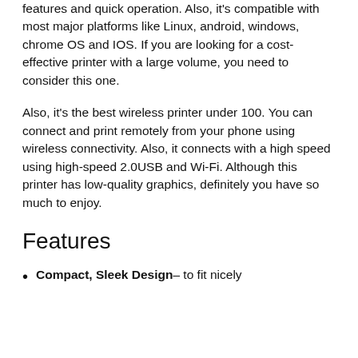features and quick operation. Also, it's compatible with most major platforms like Linux, android, windows, chrome OS and IOS. If you are looking for a cost-effective printer with a large volume, you need to consider this one.
Also, it's the best wireless printer under 100. You can connect and print remotely from your phone using wireless connectivity. Also, it connects with a high speed using high-speed 2.0USB and Wi-Fi. Although this printer has low-quality graphics, definitely you have so much to enjoy.
Features
Compact, Sleek Design– to fit nicely